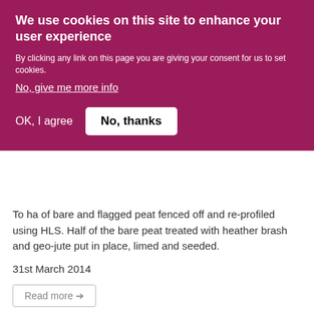We use cookies on this site to enhance your user experience
By clicking any link on this page you are giving your consent for us to set cookies.
No, give me more info
OK, I agree
No, thanks
To ha of bare and flagged peat fenced off and re-profiled using HLS. Half of the bare peat treated with heather brash and geo-jute put in place, limed and seeded.
31st March 2014
Read more →
Festival Bowland events calendar
Separate Festival Bowland events brochure produced for 2014.
Festival Bowland programme for 2015 included as part of Discover Bowland guide.